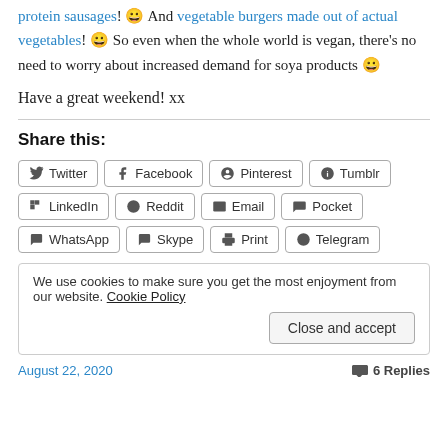protein sausages! 😀 And vegetable burgers made out of actual vegetables! 😀 So even when the whole world is vegan, there's no need to worry about increased demand for soya products 😀
Have a great weekend! xx
Share this:
Twitter, Facebook, Pinterest, Tumblr, LinkedIn, Reddit, Email, Pocket, WhatsApp, Skype, Print, Telegram
We use cookies to make sure you get the most enjoyment from our website. Cookie Policy Close and accept
August 22, 2020 · 6 Replies